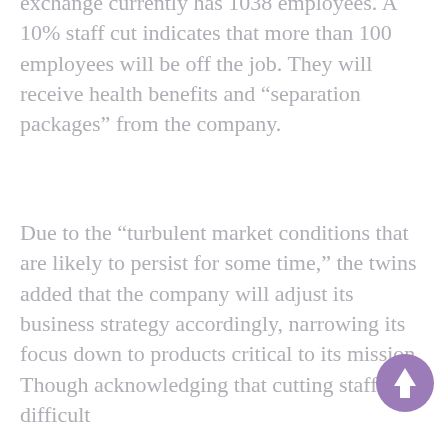exchange currently has 1038 employees. A 10% staff cut indicates that more than 100 employees will be off the job. They will receive health benefits and “separation packages” from the company.
Due to the “turbulent market conditions that are likely to persist for some time,” the twins added that the company will adjust its business strategy accordingly, narrowing its focus down to products critical to its mission. Though acknowledging that cutting staff is a difficult